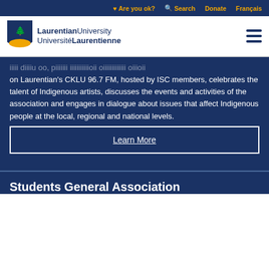Are you ok? Search Donate Français
[Figure (logo): Laurentian University / Université Laurentienne shield logo with navigation bar]
on Laurentian's CKLU 96.7 FM, hosted by ISC members, celebrates the talent of Indigenous artists, discusses the events and activities of the association and engages in dialogue about issues that affect Indigenous people at the local, regional and national levels.
Learn More
Students General Association